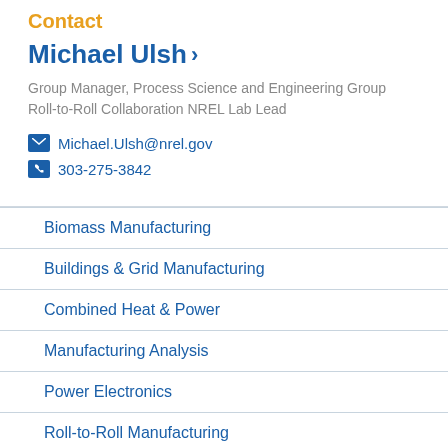Contact
Michael Ulsh
Group Manager, Process Science and Engineering Group
Roll-to-Roll Collaboration NREL Lab Lead
Michael.Ulsh@nrel.gov
303-275-3842
Biomass Manufacturing
Buildings & Grid Manufacturing
Combined Heat & Power
Manufacturing Analysis
Power Electronics
Roll-to-Roll Manufacturing